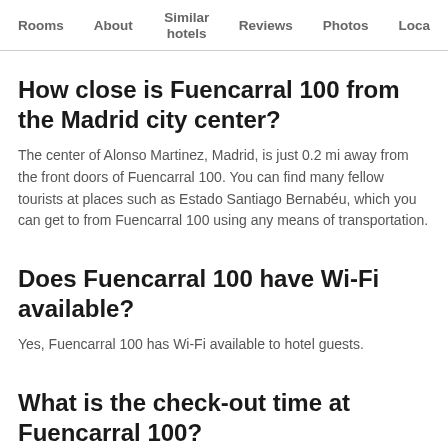Rooms  About  Similar hotels  Reviews  Photos  Loca…
How close is Fuencarral 100 from the Madrid city center?
The center of Alonso Martinez, Madrid, is just 0.2 mi away from the front doors of Fuencarral 100. You can find many fellow tourists at places such as Estado Santiago Bernabéu, which you can get to from Fuencarral 100 using any means of transportation.
Does Fuencarral 100 have Wi-Fi available?
Yes, Fuencarral 100 has Wi-Fi available to hotel guests.
What is the check-out time at Fuencarral 100?
The standard check-out time at Fuencarral 100 is 11:30 AM. Guests can usually check-in from 2:00 PM. Special arrangements may be available if discussed with the front desk.